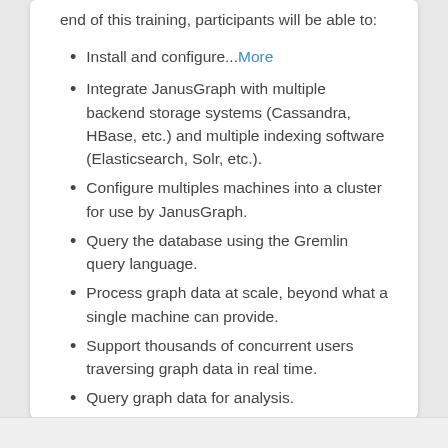end of this training, participants will be able to:
Install and configure... More
Integrate JanusGraph with multiple backend storage systems (Cassandra, HBase, etc.) and multiple indexing software (Elasticsearch, Solr, etc.).
Configure multiples machines into a cluster for use by JanusGraph.
Query the database using the Gremlin query language.
Process graph data at scale, beyond what a single machine can provide.
Support thousands of concurrent users traversing graph data in real time.
Query graph data for analysis.
Less